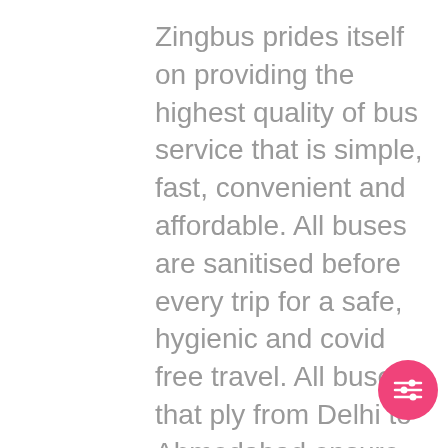Zingbus prides itself on providing the highest quality of bus service that is simple, fast, convenient and affordable. All buses are sanitised before every trip for a safe, hygienic and covid free travel. All buses that ply from Delhi to Ahmedabad ensure punctuality and safety of its passengers.
For more information on Delhi to Ahmedabad Bus Timings, Route, Fare, Ticket Prices, Bus Types, etc - passengers can download the Zingbus app.
[Figure (other): Pink circular filter/settings button with three horizontal sliders icon]